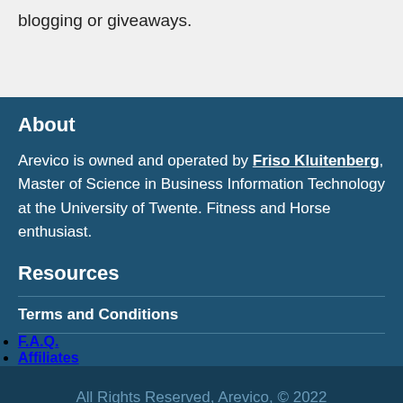blogging or giveaways.
About
Arevico is owned and operated by Friso Kluitenberg, Master of Science in Business Information Technology at the University of Twente. Fitness and Horse enthusiast.
Resources
Terms and Conditions
F.A.Q.
Affiliates
All Rights Reserved, Arevico, © 2022